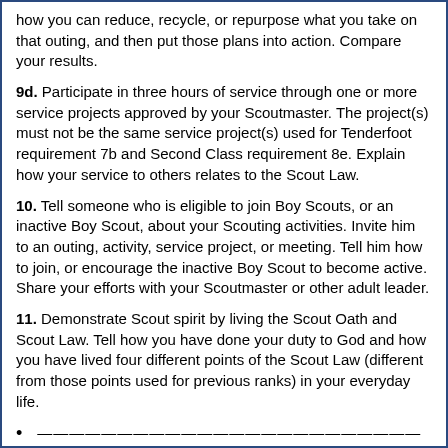how you can reduce, recycle, or repurpose what you take on that outing, and then put those plans into action. Compare your results.
9d. Participate in three hours of service through one or more service projects approved by your Scoutmaster. The project(s) must not be the same service project(s) used for Tenderfoot requirement 7b and Second Class requirement 8e. Explain how your service to others relates to the Scout Law.
10. Tell someone who is eligible to join Boy Scouts, or an inactive Boy Scout, about your Scouting activities. Invite him to an outing, activity, service project, or meeting. Tell him how to join, or encourage the inactive Boy Scout to become active. Share your efforts with your Scoutmaster or other adult leader.
11. Demonstrate Scout spirit by living the Scout Oath and Scout Law. Tell how you have done your duty to God and how you have lived four different points of the Scout Law (different from those points used for previous ranks) in your everyday life.
• ————————————————
• ————————————————
• ————————————————
• ————————————————